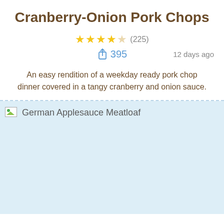Cranberry-Onion Pork Chops
★★★★☆ (225)
395  12 days ago
An easy rendition of a weekday ready pork chop dinner covered in a tangy cranberry and onion sauce.
[Figure (photo): Broken image placeholder for German Applesauce Meatloaf on a light blue background]
German Applesauce Meatloaf